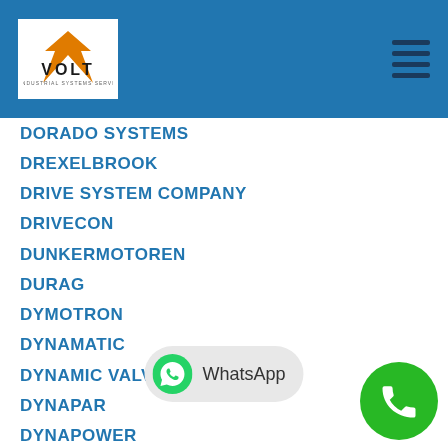[Figure (logo): VOLT Industrial Systems logo with orange V and dark text on white background, inside blue header bar]
DORADO SYSTEMS
DREXELBROOK
DRIVE SYSTEM COMPANY
DRIVECON
DUNKERMOTOREN
DURAG
DYMOTRON
DYNAMATIC
DYNAMIC VALVES
DYNAPAR
DYNAPOWER
DYNISCO
EAGLE
ECS
EG&G
EGAN
ELB ELECTRONIC
ELDETCO INC
ELECTRIC
ELECTRIC REGULATOR